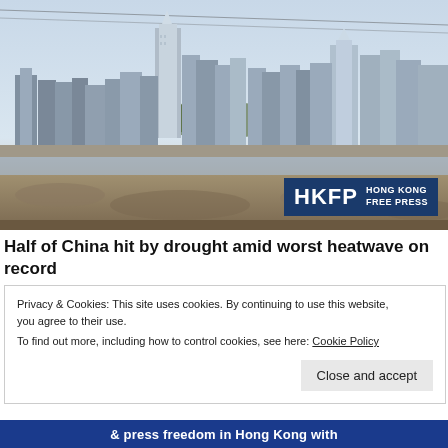[Figure (photo): Cityscape/skyline photo of a Chinese city (likely Chongqing) with tall skyscrapers and a dry riverbed in the foreground. HKFP Hong Kong Free Press logo overlay in bottom right corner.]
Half of China hit by drought amid worst heatwave on record
Privacy & Cookies: This site uses cookies. By continuing to use this website, you agree to their use.
To find out more, including how to control cookies, see here: Cookie Policy
Close and accept
& press freedom in Hong Kong with